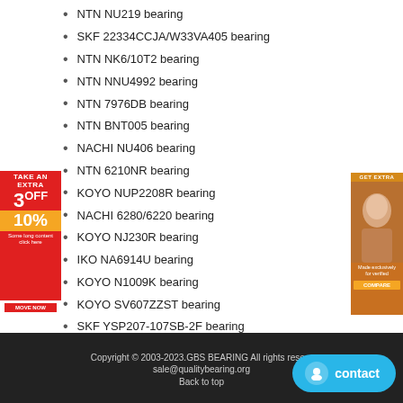NTN NU219 bearing
SKF 22334CCJA/W33VA405 bearing
NTN NK6/10T2 bearing
NTN NNU4992 bearing
NTN 7976DB bearing
NTN BNT005 bearing
NACHI NU406 bearing
NTN 6210NR bearing
KOYO NUP2208R bearing
NACHI 6280/6220 bearing
KOYO NJ230R bearing
IKO NA6914U bearing
KOYO N1009K bearing
KOYO SV607ZZST bearing
SKF YSP207-107SB-2F bearing
NSK RS-4864E4 bearing
NTN HM265049/HM265010G2 bearing
Copyright © 2003-2023.GBS BEARING All rights reserved sale@qualitybearing.org Back to top